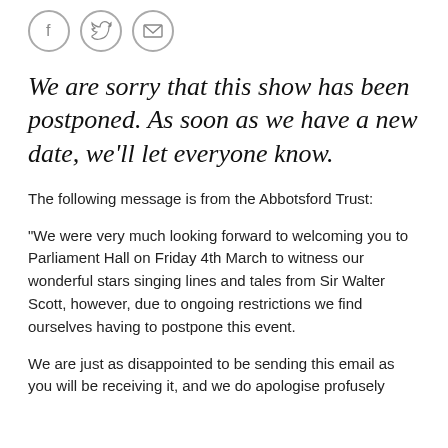[Figure (other): Three social sharing icon circles: Facebook (f), Twitter (bird), and email (envelope)]
We are sorry that this show has been postponed. As soon as we have a new date, we'll let everyone know.
The following message is from the Abbotsford Trust:
"We were very much looking forward to welcoming you to Parliament Hall on Friday 4th March to witness our wonderful stars singing lines and tales from Sir Walter Scott, however, due to ongoing restrictions we find ourselves having to postpone this event.
We are just as disappointed to be sending this email as you will be receiving it, and we do apologise profusely for the circumstances.